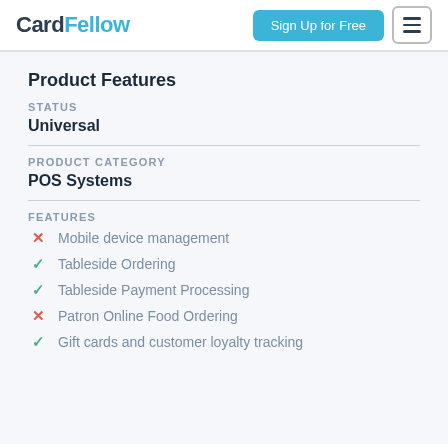CardFellow | Sign Up for Free
Product Features
STATUS
Universal
PRODUCT CATEGORY
POS Systems
FEATURES
✗ Mobile device management
✓ Tableside Ordering
✓ Tableside Payment Processing
✗ Patron Online Food Ordering
✓ Gift cards and customer loyalty tracking